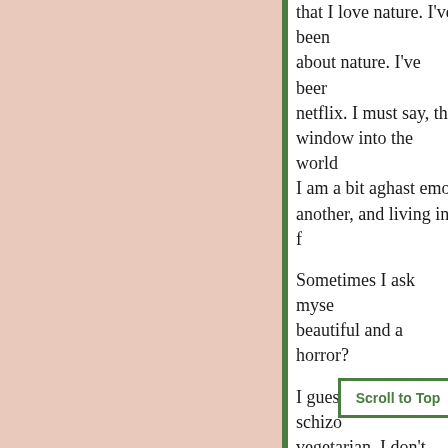that I love nature. I've been watching nature documentaries on netflix. I must say, that is quite a window into the world... I am a bit aghast emotionally at one another, and living in f...
Sometimes I ask myself is it both beautiful and a horror?...
I guess I'm a bit schizo... vegetarian, I don't think... believe in fighting real... reality itself. On the ot... the consciousness of a... charmed by bugs, mos... lives with... some...